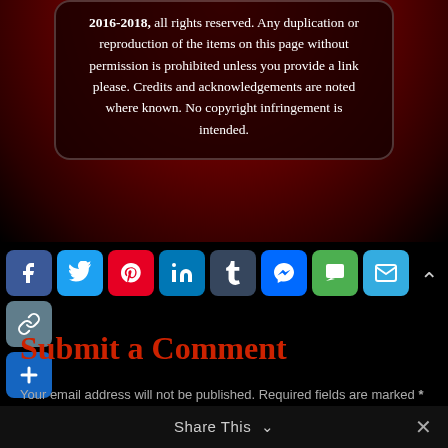2016-2018, all rights reserved. Any duplication or reproduction of the items on this page without permission is prohibited unless you provide a link please. Credits and acknowledgements are noted where known. No copyright infringement is intended.
[Figure (infographic): Social share buttons row: Facebook, Twitter, Pinterest, LinkedIn, Tumblr, Messenger, SMS, Email, Copy Link, More (+)]
Submit a Comment
Your email address will not be published. Required fields are marked *
Share This ∨  ✕